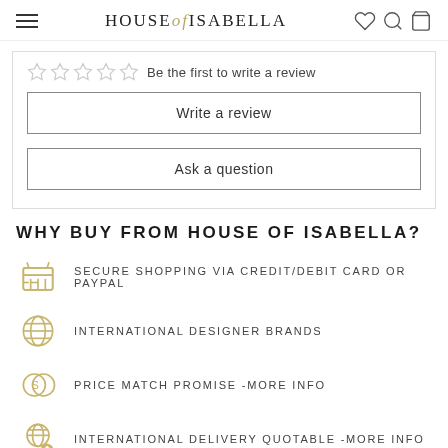HOUSE of ISABELLA
Be the first to write a review
Write a review
Ask a question
WHY BUY FROM HOUSE OF ISABELLA?
SECURE SHOPPING VIA CREDIT/DEBIT CARD OR PAYPAL
INTERNATIONAL DESIGNER BRANDS
PRICE MATCH PROMISE -MORE INFO
INTERNATIONAL DELIVERY QUOTABLE -MORE INFO